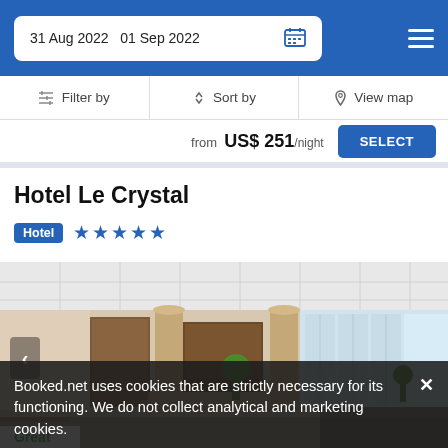31 Aug 2022  01 Sep 2022
Filter by  Sort by  View map
from US$ 251/night
SELECT
Hotel Le Crystal
Hotel ★★★★★
[Figure (photo): Interior photo of Hotel Le Crystal lobby showing columns, warm tones, plants, and large windows]
Booked.net uses cookies that are strictly necessary for its functioning. We do not collect analytical and marketing cookies.
Great